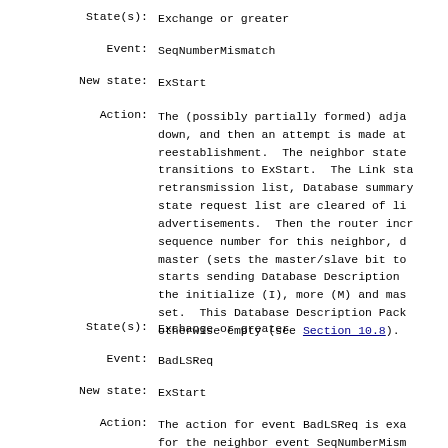State(s): Exchange or greater
Event: SeqNumberMismatch
New state: ExStart
Action: The (possibly partially formed) adjacency is torn down, and then an attempt is made at reestablishment. The neighbor state transitions to ExStart. The Link state retransmission list, Database summary list and state request list are cleared of link state advertisements. Then the router increments the sequence number for this neighbor, declares itself master (sets the master/slave bit to master), and starts sending Database Description Packets, with the initialize (I), more (M) and master (MS) bits set. This Database Description Packet should be otherwise empty (see Section 10.8).
State(s): Exchange or greater
Event: BadLSReq
New state: ExStart
Action: The action for event BadLSReq is exactly the same as for the neighbor event SeqNumberMismatch (possibly partially formed) adjacency...